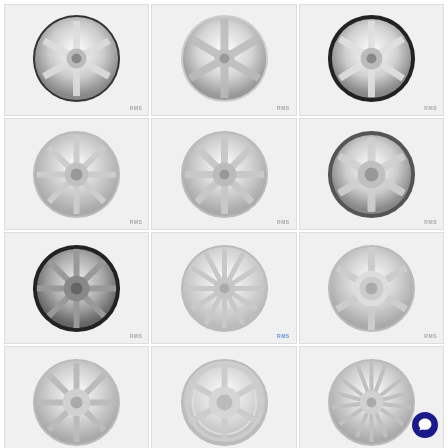[Figure (photo): Grid of 12 chrome/silver automotive wheel rim product photos arranged in 4 rows and 3 columns. Each wheel features different spoke designs. Watermark 'RMS' appears on most images. A live chat button is visible in the bottom-right corner.]